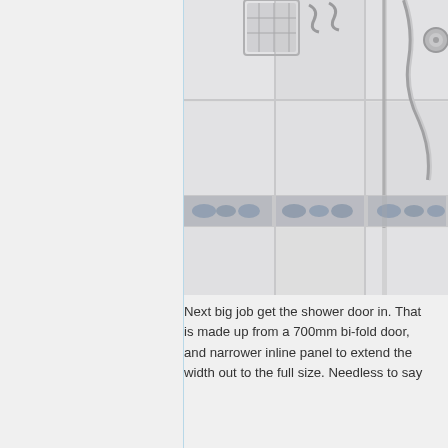[Figure (photo): Close-up photo of a tiled shower wall with white/grey marble-effect tiles, a decorative blue and white floral border tile strip running horizontally, and chrome shower fixtures including a caddy/basket, shower head hose, and control knob visible at the top.]
Next big job get the shower door in. That is made up from a 700mm bi-fold door, and narrower inline panel to extend the width out to the full size. Needless to say